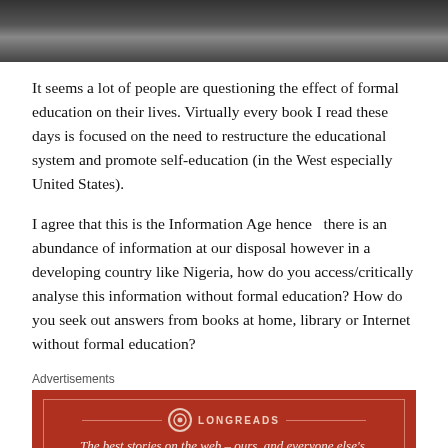[Figure (photo): Partial view of a dark indoor scene, top portion of the page]
It seems a lot of people are questioning the effect of formal education on their lives. Virtually every book I read these days is focused on the need to restructure the educational system and promote self-education (in the West especially United States).
I agree that this is the Information Age hence  there is an abundance of information at our disposal however in a developing country like Nigeria, how do you access/critically analyse this information without formal education? How do you seek out answers from books at home, library or Internet without formal education?
Advertisements
[Figure (other): Longreads advertisement banner in dark red: 'The best stories on the web – ours, and everyone else's.']